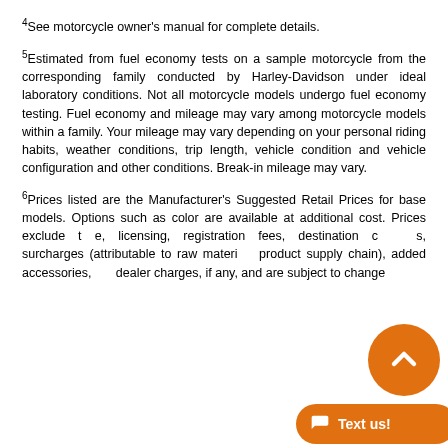4See motorcycle owner's manual for complete details.
5Estimated from fuel economy tests on a sample motorcycle from the corresponding family conducted by Harley-Davidson under ideal laboratory conditions. Not all motorcycle models undergo fuel economy testing. Fuel economy and mileage may vary among motorcycle models within a family. Your mileage may vary depending on your personal riding habits, weather conditions, trip length, vehicle condition and vehicle configuration and other conditions. Break-in mileage may vary.
6Prices listed are the Manufacturer's Suggested Retail Prices for base models. Options such as color are available at additional cost. Prices exclude t[ax], licensing, registration fees, destination c[harges], surcharges (attributable to raw materi[als costs and] product supply chain), added accessories, [and] dealer charges, if any, and are subject to change